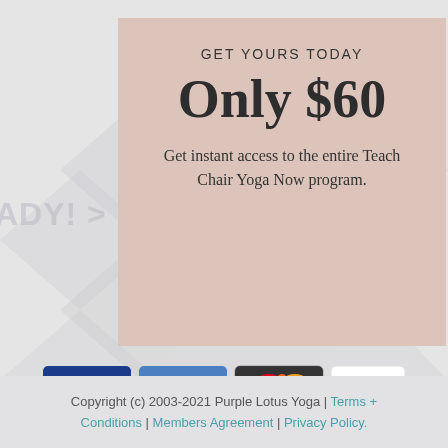GET YOURS TODAY
Only $60
Get instant access to the entire Teach Chair Yoga Now program.
[Figure (illustration): Payment method icons: Visa, American Express, MasterCard, PayPal]
Copyright (c) 2003-2021 Purple Lotus Yoga | Terms + Conditions | Members Agreement | Privacy Policy.